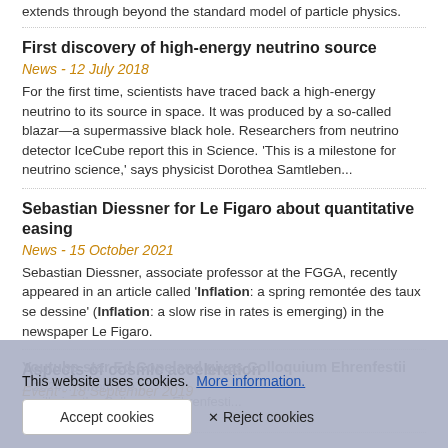...extends through beyond the standard model of particle physics.
First discovery of high-energy neutrino source
News - 12 July 2018
For the first time, scientists have traced back a high-energy neutrino to its source in space. It was produced by a so-called blazar—a supermassive black hole. Researchers from neutrino detector IceCube report this in Science. 'This is a milestone for neutrino science,' says physicist Dorothea Samtleben...
Sebastian Diessner for Le Figaro about quantitative easing
News - 15 October 2021
Sebastian Diessner, associate professor at the FGGA, recently appeared in an article called 'Inflation: a spring remontée des taux se dessine' (Inflation: a slow rise in rates is emerging) in the newspaper Le Figaro.
Aspects of cosmic acceleration
Event - 18 September 2019
PhD Defence
Youtube star Ed Copeland gives Colloquium Ehrenfestii
This website uses cookies.  More information.
Accept cookies   ✕ Reject cookies